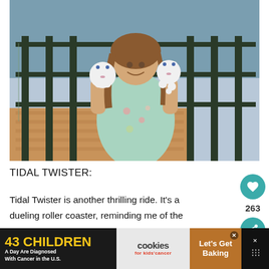[Figure (photo): A young girl smiling and holding up two small white stuffed animal toys (cat-like plush toys), standing in front of a dark metal railing with a waterway and wooden boardwalk visible in the background. She is wearing a light blue floral dress.]
TIDAL TWISTER:
Tidal Twister is another thrilling ride. It's a dueling roller coaster, reminding me of the
[Figure (screenshot): Advertisement banner at the bottom: left section shows '43 CHILDREN A Day Are Diagnosed With Cancer in the U.S.' in yellow and white text on dark background; middle section shows 'cookies for kids cancer' logo on light background; right section shows 'Let's Get Baking' text on brown/orange background with a close X button.]